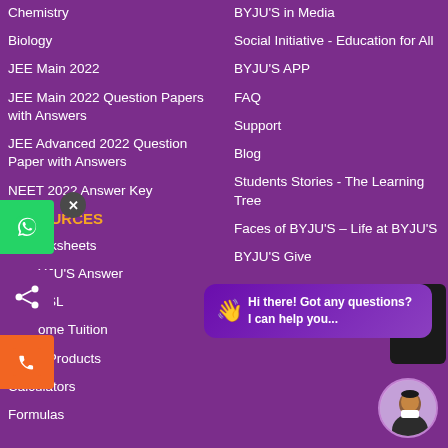Chemistry
Biology
JEE Main 2022
JEE Main 2022 Question Papers with Answers
JEE Advanced 2022 Question Paper with Answers
NEET 2022 Answer Key
RESOURCES
Worksheets
BYJU'S Answer
SSL
Home Tuition
All Products
Calculators
Formulas
BYJU'S in Media
Social Initiative - Education for All
BYJU'S APP
FAQ
Support
Blog
Students Stories - The Learning Tree
Faces of BYJU'S – Life at BYJU'S
BYJU'S Give
[Figure (screenshot): Chat widget bubble: Hi there! Got any questions? I can help you...]
[Figure (screenshot): Upload/scroll to top arrow button]
[Figure (photo): Circular avatar of a person in formal attire]